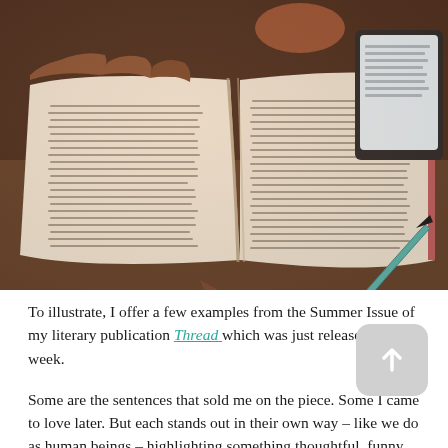[Figure (photo): A person's hand holding a blue pen or marker, writing or reading in an open book with dense text columns. A tablet or e-reader is visible in the upper right corner. The photo has a warm, slightly desaturated tone.]
To illustrate, I offer a few examples from the Summer Issue of my literary publication Thread which was just released this week.
Some are the sentences that sold me on the piece. Some I came to love later. But each stands out in their own way – like we do as human beings – highlighting something thoughtful, funny or